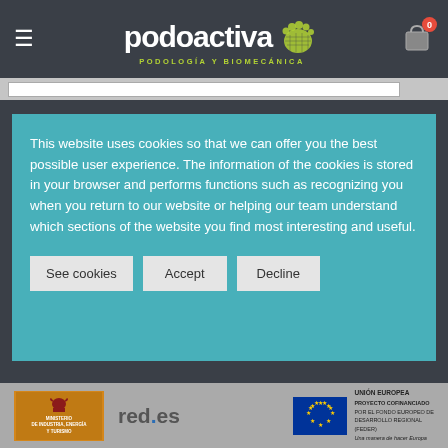[Figure (logo): Podoactiva logo - Podología y Biomecánica brand with green footprint icon]
This website uses cookies so that we can offer you the best possible user experience. The information of the cookies is stored in your browser and performs functions such as recognizing you when you return to our website or helping our team understand which sections of the website you find most interesting and useful.
See cookies
Accept
Decline
[Figure (logo): Spanish Ministry of Industry, Energy and Tourism logo]
[Figure (logo): red.es logo]
[Figure (logo): European Union flag and FEDER co-financing project text]